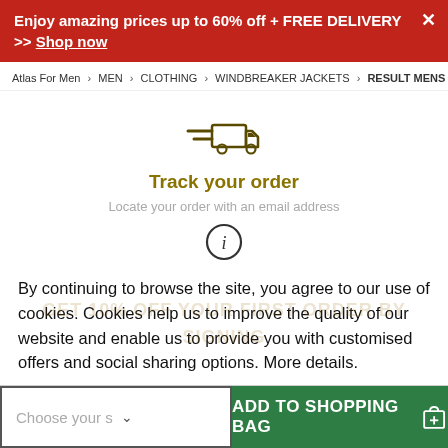Enjoy amazing prices up to 60% off + FREE DELIVERY >> Shop now
Atlas For Men > MEN > CLOTHING > WINDBREAKER JACKETS > RESULT MENS REVERSIBLE S
[Figure (illustration): Delivery truck icon with speed lines]
Track your order
Locate your order with an email address
[Figure (illustration): Information (i) circle icon]
By continuing to browse the site, you agree to our use of cookies. Cookies help us to improve the quality of our website and enable us to provide you with customised offers and social sharing options. More details.